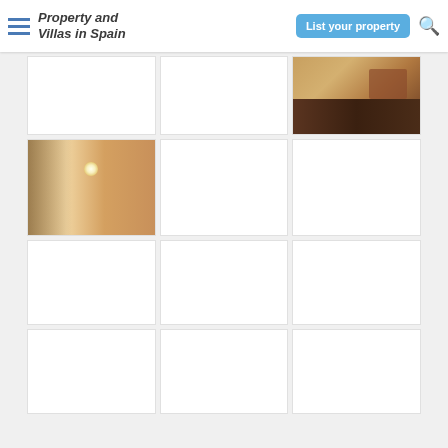Property and Villas in Spain
[Figure (photo): Website header with logo, 'List your property' button and search icon]
[Figure (photo): Grid of property listing thumbnail images - row 1: empty, empty, living room interior]
[Figure (photo): Grid of property listing thumbnail images - row 2: hallway/ceiling interior, empty, empty]
[Figure (photo): Grid of property listing thumbnail images - row 3: three empty white cells]
[Figure (photo): Grid of property listing thumbnail images - row 4: three empty white cells]